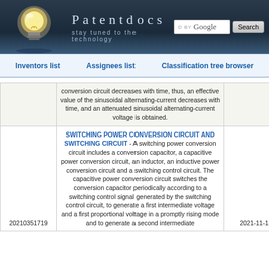Patentdocs — stay tuned to the technology
Inventors list   Assignees list   Classification tree browser
|  | Description | Date |
| --- | --- | --- |
|  | conversion circuit decreases with time, thus, an effective value of the sinusoidal alternating-current decreases with time, and an attenuated sinusoidal alternating-current voltage is obtained. |  |
| 20210351719 | SWITCHING POWER CONVERSION CIRCUIT AND SWITCHING CIRCUIT - A switching power conversion circuit includes a conversion capacitor, a capacitive power conversion circuit, an inductor, an inductive power conversion circuit and a switching control circuit. The capacitive power conversion circuit switches the conversion capacitor periodically according to a switching control signal generated by the switching control circuit, to generate a first intermediate voltage and a first proportional voltage in a promptly rising mode and to generate a second intermediate | 2021-11-11 |